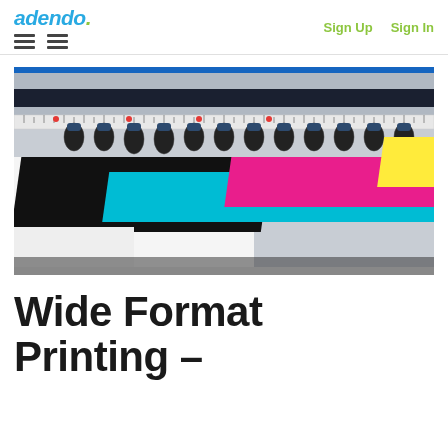adendo. | Sign Up | Sign In
[Figure (photo): Close-up photograph of a wide format inkjet printer with CMYK color test strips being printed — cyan, magenta, yellow, and black color bands visible on white media, with print heads and ruler strip visible along the top of the machine.]
Wide Format Printing –